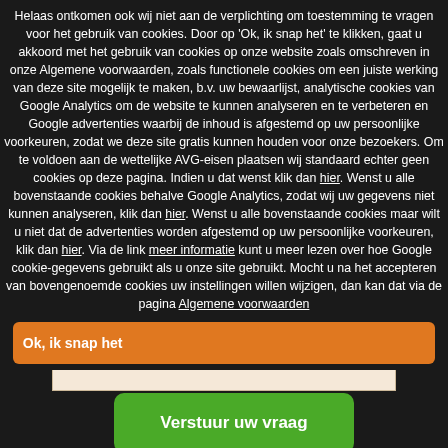Helaas ontkomen ook wij niet aan de verplichting om toestemming te vragen voor het gebruik van cookies. Door op 'Ok, ik snap het' te klikken, gaat u akkoord met het gebruik van cookies op onze website zoals omschreven in onze Algemene voorwaarden, zoals functionele cookies om een juiste werking van deze site mogelijk te maken, b.v. uw bewaarlijst, analytische cookies van Google Analytics om de website te kunnen analyseren en te verbeteren en Google advertenties waarbij de inhoud is afgestemd op uw persoonlijke voorkeuren, zodat we deze site gratis kunnen houden voor onze bezoekers. Om te voldoen aan de wettelijke AVG-eisen plaatsen wij standaard echter geen cookies op deze pagina. Indien u dat wenst klik dan hier. Wenst u alle bovenstaande cookies behalve Google Analytics, zodat wij uw gegevens niet kunnen analyseren, klik dan hier. Wenst u alle bovenstaande cookies maar wilt u niet dat de advertenties worden afgestemd op uw persoonlijke voorkeuren, klik dan hier. Via de link meer informatie kunt u meer lezen over hoe Google cookie-gegevens gebruikt als u onze site gebruikt. Mocht u na het accepteren van bovengenoemde cookies uw instellingen willen wijzigen, dan kan dat via de pagina Algemene voorwaarden
Ok, ik snap het
Verstuur uw vraag